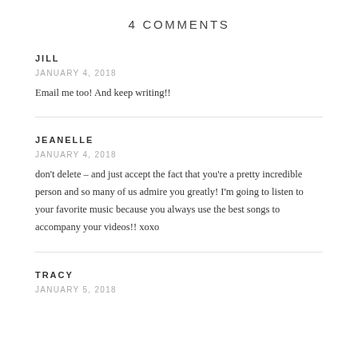4 COMMENTS
JILL
JANUARY 4, 2018
Email me too! And keep writing!!
JEANELLE
JANUARY 4, 2018
don't delete – and just accept the fact that you're a pretty incredible person and so many of us admire you greatly! I'm going to listen to your favorite music because you always use the best songs to accompany your videos!! xoxo
TRACY
JANUARY 5, 2018